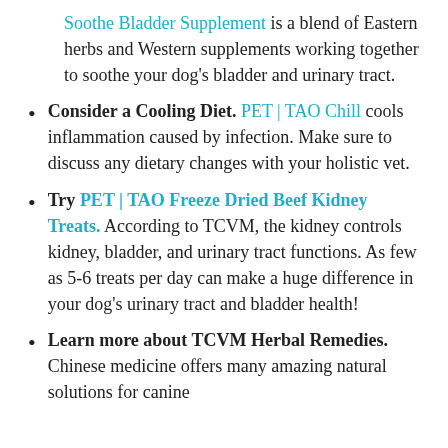Soothe Bladder Supplement is a blend of Eastern herbs and Western supplements working together to soothe your dog's bladder and urinary tract.
Consider a Cooling Diet. PET | TAO Chill cools inflammation caused by infection. Make sure to discuss any dietary changes with your holistic vet.
Try PET | TAO Freeze Dried Beef Kidney Treats. According to TCVM, the kidney controls kidney, bladder, and urinary tract functions. As few as 5-6 treats per day can make a huge difference in your dog's urinary tract and bladder health!
Learn more about TCVM Herbal Remedies. Chinese medicine offers many amazing natural solutions for canine